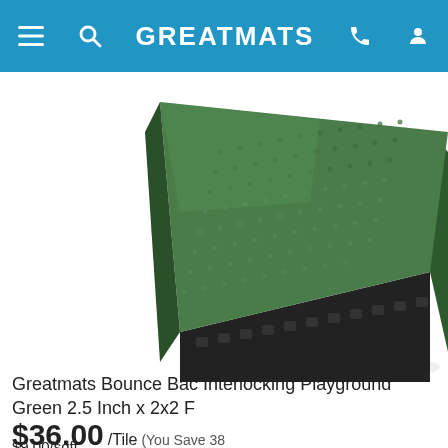GREATMATS
[Figure (photo): Green rubber interlocking playground tile, shown at an angle revealing the interlocking edge and textured top surface, Bounce Back Interlocking Playground Tile, Green 2.5 Inch x 2x2 Ft]
Greatmats Bounce Back Interlocking Playground Green 2.5 Inch x 2x2 F
$36.00 /Tile (You Save 38...)
$9.00/sqft
✓ Ships Out in 1-3 Working Day